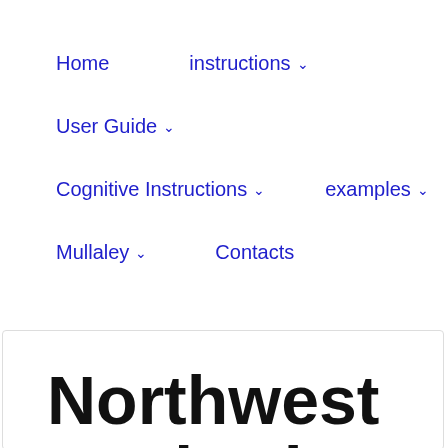Home  instructions ∨  User Guide ∨  Cognitive Instructions ∨  examples ∨  Mullaley ∨  Contacts
Northwest Territories Html